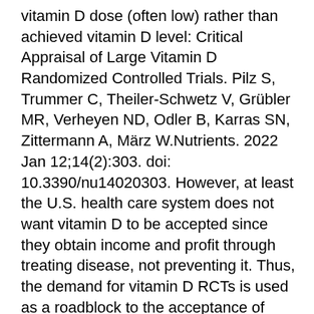vitamin D dose (often low) rather than achieved vitamin D level: Critical Appraisal of Large Vitamin D Randomized Controlled Trials. Pilz S, Trummer C, Theiler-Schwetz V, Grübler MR, Verheyen ND, Odler B, Karras SN, Zittermann A, März W.Nutrients. 2022 Jan 12;14(2):303. doi: 10.3390/nu14020303. However, at least the U.S. health care system does not want vitamin D to be accepted since they obtain income and profit through treating disease, not preventing it. Thus, the demand for vitamin D RCTs is used as a roadblock to the acceptance of vitamin D. There are many vitamin D papers supporting vitamin D at pubmed.gov, scholar.google.com, VitaminDWiki.com, and Grassrootshealth.net